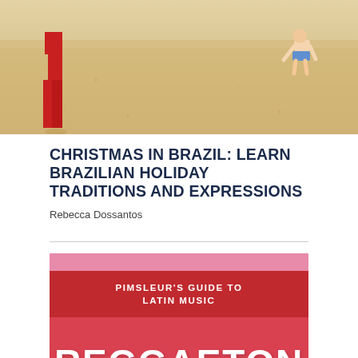[Figure (photo): Beach scene with person in red pants on the left and a child bending over on the right, sandy beach background]
CHRISTMAS IN BRAZIL: LEARN BRAZILIAN HOLIDAY TRADITIONS AND EXPRESSIONS
Rebecca Dossantos
[Figure (photo): Red background with pink bar at top, a dark red banner reading PIMSLEUR'S GUIDE TO LATIN MUSIC, and large white text REGGAETON below]